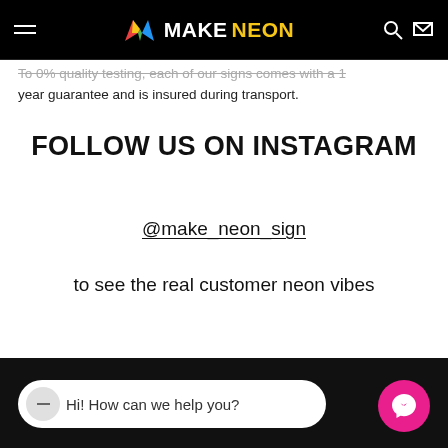MAKENEON
to 0% quality testing, each of our signs comes with a 1 year guarantee and is insured during transport.
FOLLOW US ON INSTAGRAM
@make_neon_sign
to see the real customer neon vibes
Hi! How can we help you?